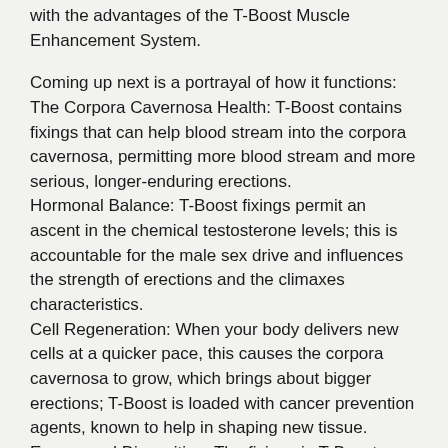with the advantages of the T-Boost Muscle Enhancement System.
Coming up next is a portrayal of how it functions: The Corpora Cavernosa Health: T-Boost contains fixings that can help blood stream into the corpora cavernosa, permitting more blood stream and more serious, longer-enduring erections. Hormonal Balance: T-Boost fixings permit an ascent in the chemical testosterone levels; this is accountable for the male sex drive and influences the strength of erections and the climaxes characteristics. Cell Regeneration: When your body delivers new cells at a quicker pace, this causes the corpora cavernosa to grow, which brings about bigger erections; T-Boost is loaded with cancer prevention agents, known to help in shaping new tissue. Energy and Disposition: The fixings in T-Boost incorporate supplements that give